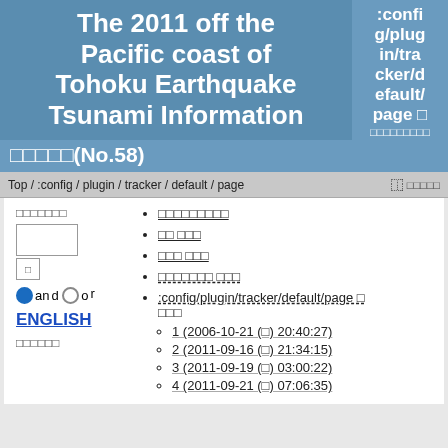The 2011 off the Pacific coast of Tohoku Earthquake Tsunami Information
:config/plugin/tracker/default/page □ □□□□□□□□□
□□□□□(No.58)
Top / :config / plugin / tracker / default / page  □□□□□
□□□□□□□
□□□□□□□□□
□□ □□□
□□□ □□□
□□□□□□□ □□□
:config/plugin/tracker/default/page □  □□□
1 (2006-10-21 (□) 20:40:27)
2 (2011-09-16 (□) 21:34:15)
3 (2011-09-19 (□) 03:00:22)
4 (2011-09-21 (□) 07:06:35)